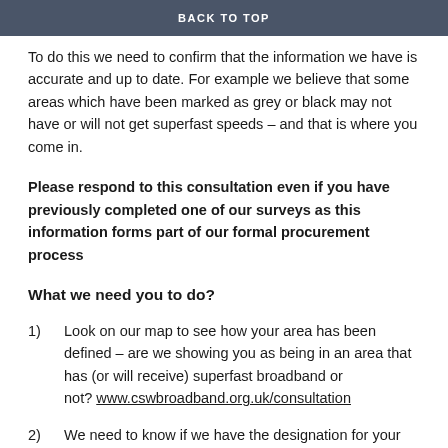BACK TO TOP
To do this we need to confirm that the information we have is accurate and up to date. For example we believe that some areas which have been marked as grey or black may not have or will not get superfast speeds – and that is where you come in.
Please respond to this consultation even if you have previously completed one of our surveys as this information forms part of our formal procurement process
What we need you to do?
1)    Look on our map to see how your area has been defined – are we showing you as being in an area that has (or will receive) superfast broadband or not? www.cswbroadband.org.uk/consultation
2)    We need to know if we have the designation for your